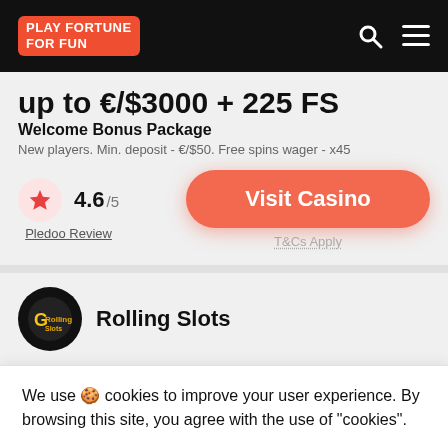PLAY FORTUNE FOR FUN
up to €/$3000 + 225 FS
Welcome Bonus Package
New players. Min. deposit - €/$50. Free spins wager - x45
4.6/5
Pledoo Review
Visit Casino
T&Cs Apply
Rolling Slots
We use 🍪 cookies to improve your user experience. By browsing this site, you agree with the use of "cookies".
Cookie settings
ACCEPT